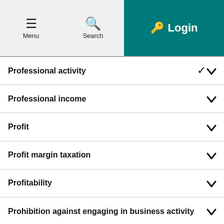Menu | Search | Login
Professional activity
Professional income
Profit
Profit margin taxation
Profitability
Prohibition against engaging in business activity
Proof of domicile
Proof of freedom from debt
Protection registration